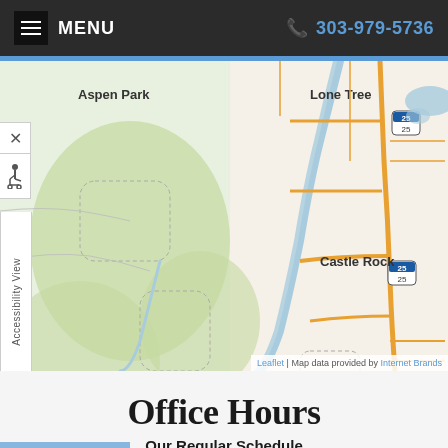MENU  303-979-5736
[Figure (map): A map showing the area between Aspen Park and Lone Tree, with Castle Rock visible to the right, Interstate 25 marked, and a river/green area running through the center. Leaflet map with attribution to Internet Brands.]
Leaflet | Map data provided by Internet Brands
Office Hours
Our Regular Schedule